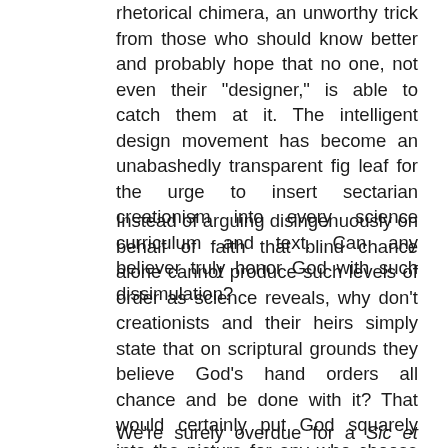rhetorical chimera, an unworthy trick from those who should know better and probably hope that no one, not even their "designer," is able to catch them at it. The intelligent design movement has become an unabashedly transparent fig leaf for the urge to insert sectarian creationism into every science curriculum and text. Can any believer truly honor God with such dissimulation?
Instead of arguing disingenuously on behalf of faith that blind chance alone cannot produce such levels of order as science reveals, why don't creationists and their heirs simply state that on scriptural grounds they believe God's hand orders all chance and be done with it? That would certainly put God squarely into the picture for any who choose to agree and would obviate the need to torture science in order to prove anything at all. Simply stated, as with any casino, the house always wins. ...
We're surely overdue for a Sic et Non